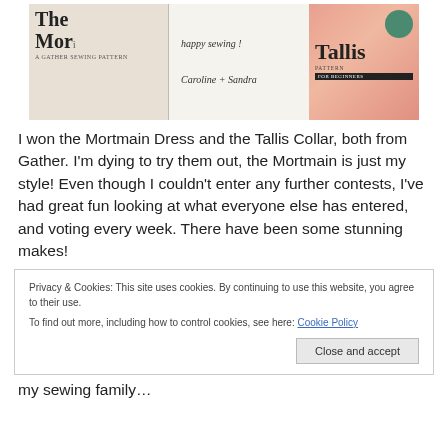[Figure (photo): Photo of two sewing pattern booklets on a wooden surface. Left booklet shows 'The Mor[tmain]' with subtitle 'A Gather Sewing Pattern'. Middle shows a handwritten note reading 'happy sewing! Caroline + Sandra'. Right booklet shows 'Tallis' in bold with a coral/peach color and a green circle.]
I won the Mortmain Dress and the Tallis Collar, both from Gather. I'm dying to try them out, the Mortmain is just my style! Even though I couldn't enter any further contests, I've had great fun looking at what everyone else has entered, and voting every week. There have been some stunning makes!
Privacy & Cookies: This site uses cookies. By continuing to use this website, you agree to their use.
To find out more, including how to control cookies, see here: Cookie Policy
[Close and accept button]
my sewing family…